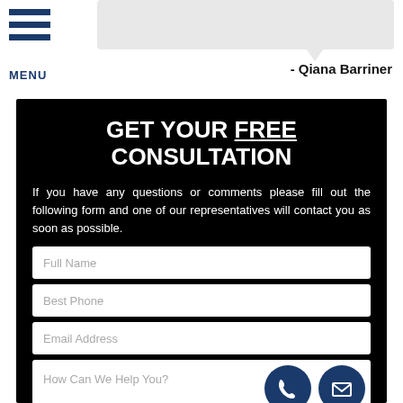[Figure (screenshot): Speech bubble / chat bubble area in light gray at top right]
- Qiana Barriner
GET YOUR FREE CONSULTATION
If you have any questions or comments please fill out the following form and one of our representatives will contact you as soon as possible.
Full Name
Best Phone
Email Address
How Can We Help You?